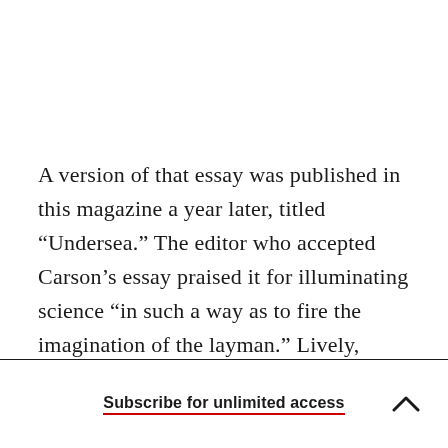A version of that essay was published in this magazine a year later, titled “Undersea.” The editor who accepted Carson’s essay praised it for illuminating science “in such a way as to fire the imagination of the layman.” Lively, lyrical, and exactingly researched, the essay showcased what would soon be recognized as her signature style to a
Subscribe for unlimited access